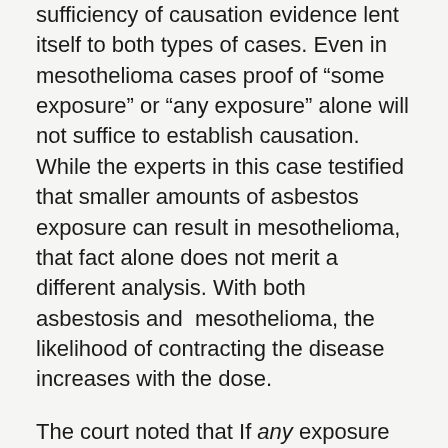sufficiency of causation evidence lent itself to both types of cases. Even in mesothelioma cases proof of “some exposure” or “any exposure” alone will not suffice to establish causation. While the experts in this case testified that smaller amounts of asbestos exposure can result in mesothelioma, that fact alone does not merit a different analysis. With both asbestosis and  mesothelioma, the likelihood of contracting the disease increases with the dose.
The court noted that If any exposure at all were sufficient to cause mesothelioma, everyone would suffer from it or at least be at serious risk of contracting the disease. Everyone is exposed to asbestos in the ambient air; it is plentiful in the environment, especially if you’re a typical urban dweller.  Plaintiff’s expert confirmed that we all have some asbestos in our lungs, but that